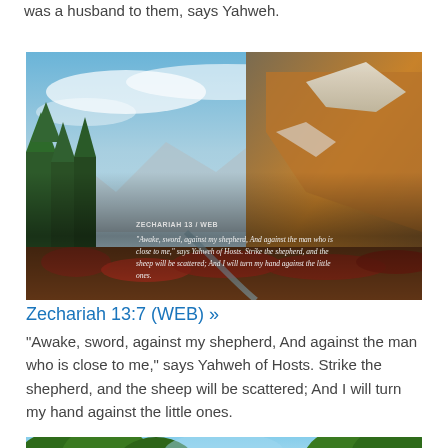was a husband to them, says Yahweh.
[Figure (photo): Mountain landscape with alpine meadow, evergreen trees, rocky slopes with autumn colors, blue sky with clouds, and an overlaid Bible verse: ZECHARIAH 13:7 WEB — 'Awake, sword, against my shepherd, And against the man who is close to me,' says Yahweh of Hosts. Strike the shepherd, and the sheep will be scattered; And I will turn my hand against the little ones.]
Zechariah 13:7 (WEB) »
"Awake, sword, against my shepherd, And against the man who is close to me," says Yahweh of Hosts. Strike the shepherd, and the sheep will be scattered; And I will turn my hand against the little ones.
[Figure (photo): Forest road scene with green trees and blue sky visible through the canopy.]